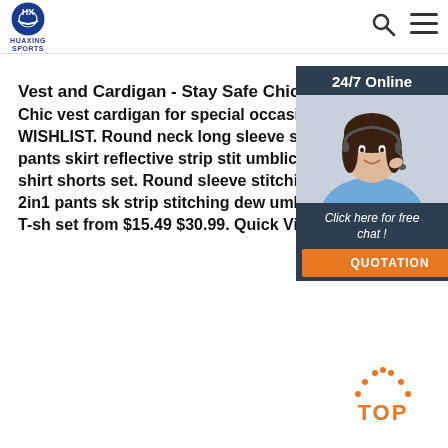HUAXING SPORTS
Vest and Cardigan - Stay Safe Chic
Chic vest cardigan for special occasion WISHLIST. Round neck long sleeve stitching crop top 2in1 pants skirt reflective strip stitching dew umblical basic T-shirt shorts set. Round neck long sleeve stitching crop top 2in1 pants skirt reflective strip stitching dew umblical basic T-shirt shorts set from $15.49 $30.99. Quick View.
Get Price
[Figure (infographic): 24/7 Online chat widget with woman wearing headset, dark navy background, orange QUOTATION button, italic text 'Click here for free chat!']
[Figure (infographic): Orange TOP back-to-top button with dotted arc above the word TOP]